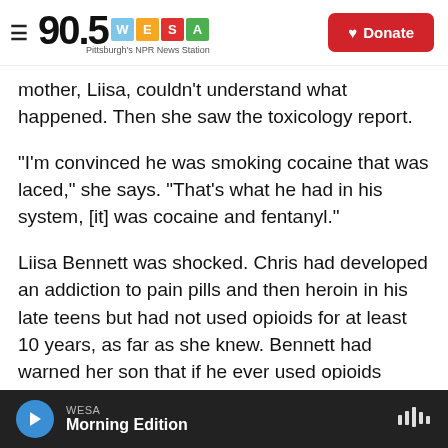90.5 WESA Pittsburgh's NPR News Station | Donate
mother, Liisa, couldn't understand what happened. Then she saw the toxicology report.
"I'm convinced he was smoking cocaine that was laced," she says. "That's what he had in his system, [it] was cocaine and fentanyl."
Liisa Bennett was shocked. Chris had developed an addiction to pain pills and then heroin in his late teens but had not used opioids for at least 10 years, as far as she knew. Bennett had warned her son that if he ever used opioids again, he'd be in greater danger of an overdose because fentanyl, an opioid
WESA | Morning Edition